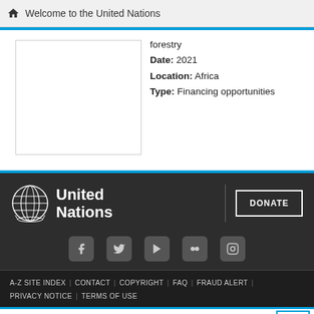Welcome to the United Nations
forestry
Date: 2021
Location: Africa
Type: Financing opportunities
[Figure (logo): United Nations logo with globe emblem and text 'United Nations' in white on dark background, with DONATE button]
[Figure (infographic): Social media icons row: Facebook, Twitter, YouTube, Flickr, Instagram]
A-Z SITE INDEX | CONTACT | COPYRIGHT | FAQ | FRAUD ALERT | PRIVACY NOTICE | TERMS OF USE
Search